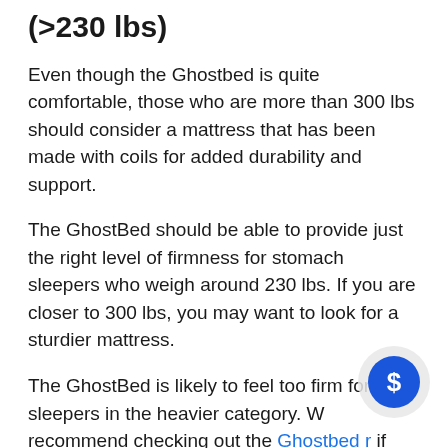(>230 lbs)
Even though the Ghostbed is quite comfortable, those who are more than 300 lbs should consider a mattress that has been made with coils for added durability and support.
The GhostBed should be able to provide just the right level of firmness for stomach sleepers who weigh around 230 lbs. If you are closer to 300 lbs, you may want to look for a sturdier mattress.
The GhostBed is likely to feel too firm for side sleepers in the heavier category. W recommend checking out the Ghostbed r if this is you.